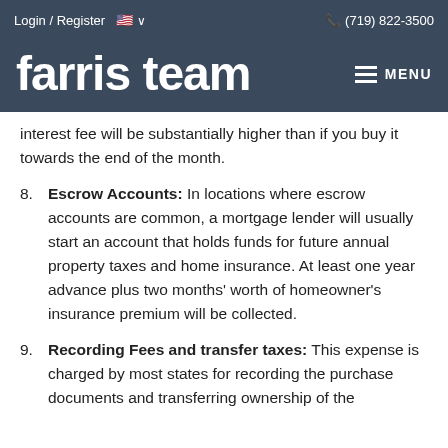Login / Register  🇺🇸 ∨    (719) 822-3500
farris team
interest fee will be substantially higher than if you buy it towards the end of the month.
8. Escrow Accounts: In locations where escrow accounts are common, a mortgage lender will usually start an account that holds funds for future annual property taxes and home insurance. At least one year advance plus two months' worth of homeowner's insurance premium will be collected.
9. Recording Fees and transfer taxes: This expense is charged by most states for recording the purchase documents and transferring ownership of the